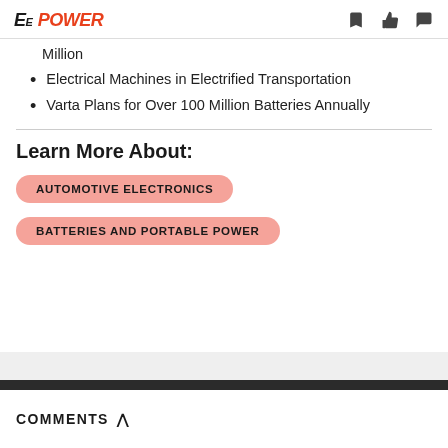EE POWER
Million
Electrical Machines in Electrified Transportation
Varta Plans for Over 100 Million Batteries Annually
Learn More About:
AUTOMOTIVE ELECTRONICS
BATTERIES AND PORTABLE POWER
COMMENTS